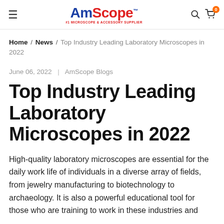AmScope — #1 Microscope & Accessory Supplier
Home / News / Top Industry Leading Laboratory Microscopes in 2022
June 06, 2022  |  AmScope Blogs
Top Industry Leading Laboratory Microscopes in 2022
High-quality laboratory microscopes are essential for the daily work life of individuals in a diverse array of fields, from jewelry manufacturing to biotechnology to archaeology. It is also a powerful educational tool for those who are training to work in these industries and